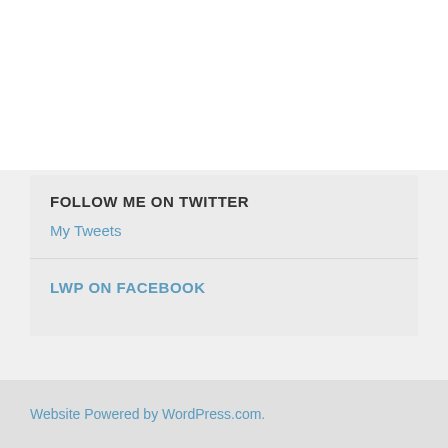FOLLOW ME ON TWITTER
My Tweets
LWP ON FACEBOOK
Website Powered by WordPress.com.